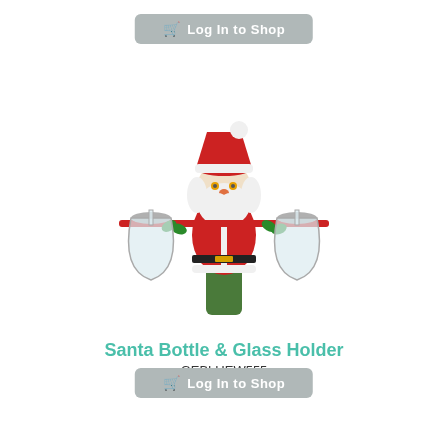Log In to Shop
[Figure (photo): Santa Claus bottle and glass holder product photo. A decorative metal Santa Claus figure sits atop a green wine bottle. Santa wears a red coat and hat with white trim, has a white beard, and extends arms outward with a horizontal bar holding two wine glasses upside down by their stems, one on each side. Green holly leaf accents appear near the glasses.]
Santa Bottle & Glass Holder
GEBLUEW555
Log In to Shop